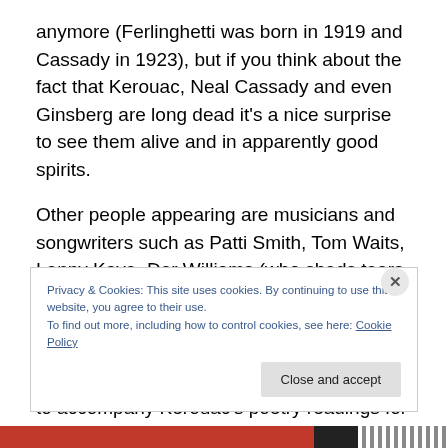anymore (Ferlinghetti was born in 1919 and Cassady in 1923), but if you think about the fact that Kerouac, Neal Cassady and even Ginsberg are long dead it's a nice surprise to see them alive and in apparently good spirits.
Other people appearing are musicians and songwriters such as Patti Smith, Tom Waits, Lenny Kaye, Dar Williams (who sheds tears on reading the end of 'Big Sur') and both people mainly responsible for the soundtrack, Jay Farrar and Benjamin Gibbard as well as David Amram (who used to accompany Kerouac's poetry readings for a time).
Privacy & Cookies: This site uses cookies. By continuing to use this website, you agree to their use.
To find out more, including how to control cookies, see here: Cookie Policy